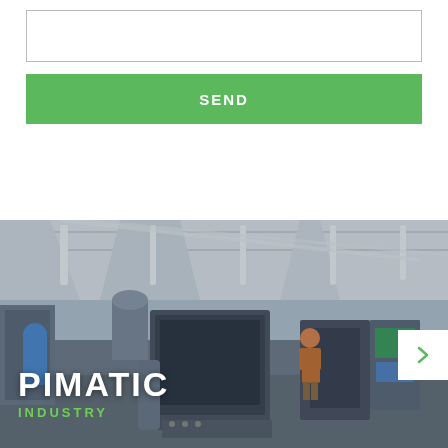[Figure (other): White input/text area box with grey border at top of form]
SEND
[Figure (photo): Industrial factory floor with machinery, ceiling lights, and a worker visible. Overlay text reads 'PIMATIC INDUSTRY'. A white arrow button is visible on the right.]